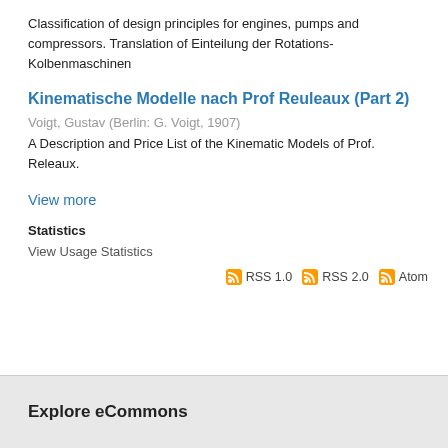Classification of design principles for engines, pumps and compressors. Translation of Einteilung der Rotations-Kolbenmaschinen
Kinematische Modelle nach Prof Reuleaux (Part 2)
Voigt, Gustav (Berlin: G. Voigt, 1907)
A Description and Price List of the Kinematic Models of Prof. Releaux.
View more
Statistics
View Usage Statistics
RSS 1.0  RSS 2.0  Atom
Explore eCommons